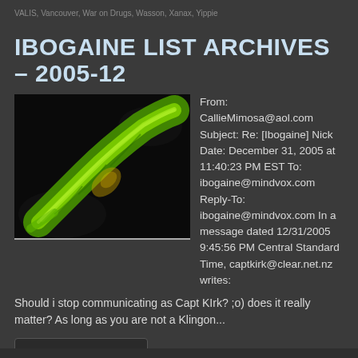VALIS, Vancouver, War on Drugs, Wasson, Xanax, Yippie
IBOGAINE LIST ARCHIVES – 2005-12
[Figure (photo): Close-up photo of a green glowing plant root or iboga root on a black background]
From: CallieMimosa@aol.com Subject: Re: [Ibogaine] Nick Date: December 31, 2005 at 11:40:23 PM EST To: ibogaine@mindvox.com Reply-To: ibogaine@mindvox.com In a message dated 12/31/2005 9:45:56 PM Central Standard Time, captkirk@clear.net.nz writes: Should i stop communicating as Capt KIrk? ;o) does it really matter? As long as you are not a Klingon...
Continue reading ▶